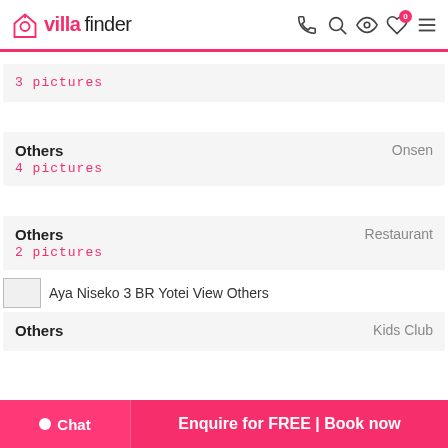villa finder
3 pictures
Others
4 pictures
Onsen
Others
2 pictures
Restaurant
[Figure (photo): Aya Niseko 3 BR Yotei View Others - broken/placeholder image]
Others
Kids Club
Chat | Enquire for FREE | Book now